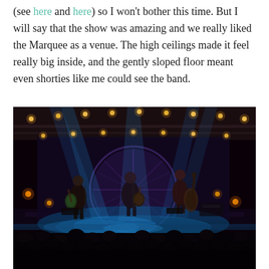(see here and here) so I won't bother this time. But I will say that the show was amazing and we really liked the Marquee as a venue. The high ceilings made it feel really big inside, and the gently sloped floor meant even shorties like me could see the band.
[Figure (photo): Concert photo taken from the crowd at the Marquee venue. The stage is lit with blue and amber/warm stage lights. Three musicians are visible on stage — one on the left holding an acoustic guitar, one in the center with a guitar, and one on the right with an upright bass. A large circular logo/backdrop is visible at the rear of the stage. The foreground shows silhouettes of the crowd.]